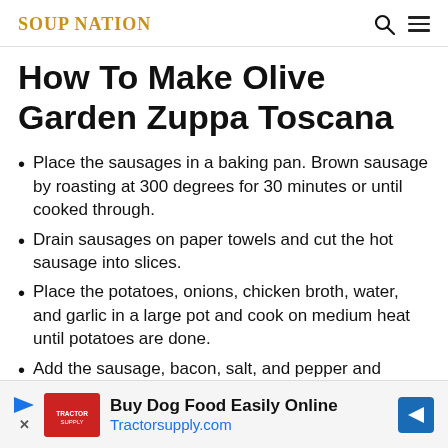SOUP NATION
How To Make Olive Garden Zuppa Toscana
Place the sausages in a baking pan. Brown sausage by roasting at 300 degrees for 30 minutes or until cooked through.
Drain sausages on paper towels and cut the hot sausage into slices.
Place the potatoes, onions, chicken broth, water, and garlic in a large pot and cook on medium heat until potatoes are done.
Add the sausage, bacon, salt, and pepper and simmer for 10 minutes.
Turn the heat to low. Add kale and cream and stir to
[Figure (infographic): Advertisement banner: Buy Dog Food Easily Online at Tractorsupply.com with Tractor Supply logo and navigation arrow icon]